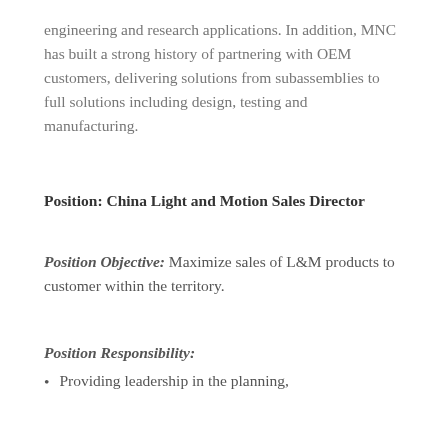engineering and research applications. In addition, MNC has built a strong history of partnering with OEM customers, delivering solutions from subassemblies to full solutions including design, testing and manufacturing.
Position: China Light and Motion Sales Director
Position Objective: Maximize sales of L&M products to customer within the territory.
Position Responsibility:
Providing leadership in the planning,